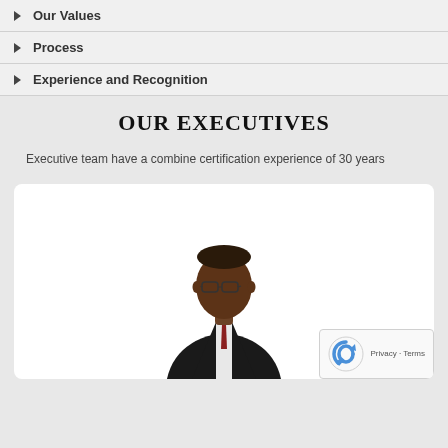Our Values
Process
Experience and Recognition
OUR EXECUTIVES
Executive team have a combine certification experience of 30 years
[Figure (photo): Professional headshot of a man in a dark suit with glasses, against a white background, shown from the waist up]